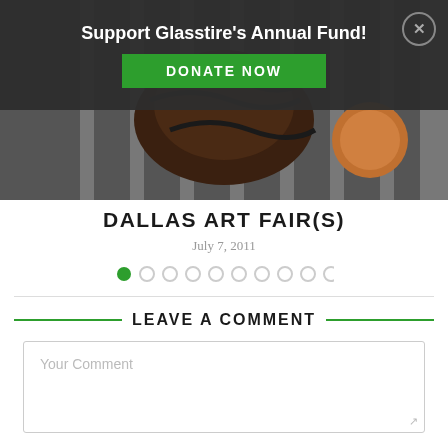[Figure (photo): Dark banner overlay with 'Support Glasstire's Annual Fund!' text, green DONATE NOW button, and close X button in top right. Below is a photo of sculpture or art object with chains/cables in front of fence bars.]
DALLAS ART FAIR(S)
July 7, 2011
[Figure (other): Slideshow pagination dots: 10 dots, first dot filled green (active), rest are empty circles]
LEAVE A COMMENT
Your Comment